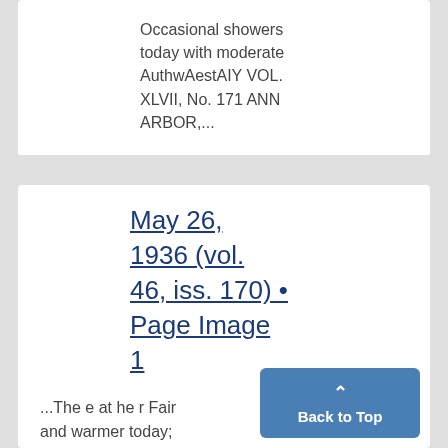Occasional showers today with moderate AuthwAestAIY VOL. XLVII, No. 171 ANN ARBOR,...
May 26, 1936 (vol. 46, iss. 170) • Page Image 1
...The e at he r Fair and warmer today; to-, morrow generally fai tinued 'warm